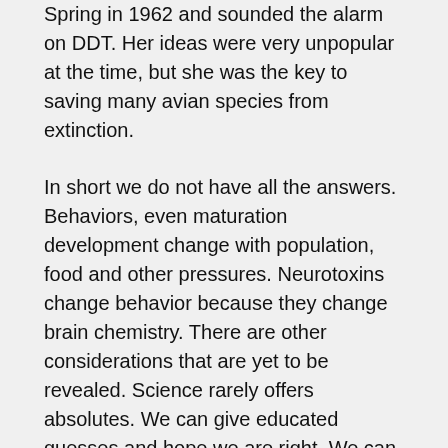Spring in 1962 and sounded the alarm on DDT. Her ideas were very unpopular at the time, but she was the key to saving many avian species from extinction.
In short we do not have all the answers. Behaviors, even maturation development change with population, food and other pressures. Neurotoxins change behavior because they change brain chemistry. There are other considerations that are yet to be revealed. Science rarely offers absolutes. We can give educated guesses and hope we are right. We can study and do research to see what may be happening at certain sites, but when populations are changing even top experts have to admit to